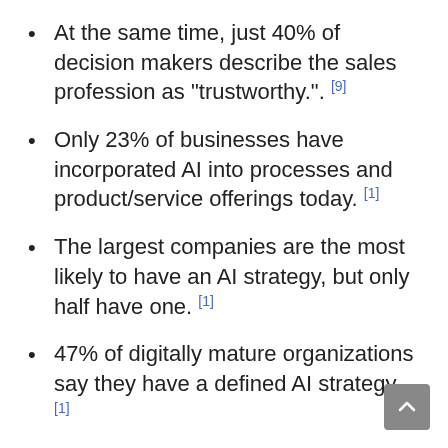At the same time, just 40% of decision makers describe the sales profession as “trust worthy.”. [9]
Only 23% of businesses have incorporated AI into processes and product/service offerings today. [1]
The largest companies are the most likely to have an AI strategy, but only half have one. [1]
47% of digitally mature organizations say they have a defined AI strategy. [1]
63% of businesses say pressure to reduce costs will require them to use AI. [1]
54% of executives say AI solutions implemented in their businesses have